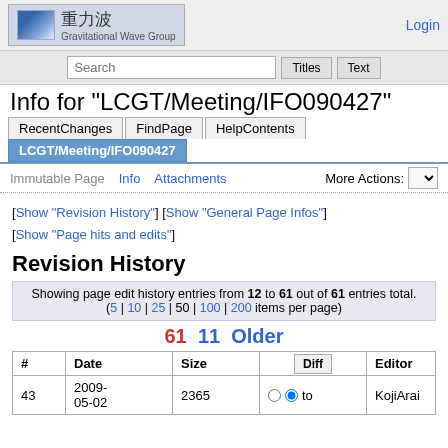重力波 Gravitational Wave Group
Login
Search  Titles  Text
Info for "LCGT/Meeting/IFO090427"
RecentChanges | FindPage | HelpContents
LCGT/Meeting/IFO090427
Immutable Page  Info  Attachments  More Actions:
[Show "Revision History"] [Show "General Page Infos"] [Show "Page hits and edits"]
Revision History
Showing page edit history entries from 12 to 61 out of 61 entries total. (5 | 10 | 25 | 50 | 100 | 200 items per page)
61  11  Older
| # | Date | Size | Diff | Editor |
| --- | --- | --- | --- | --- |
| 43 | 2009-05-02 | 2365 | ○ ● to | KojiArai |